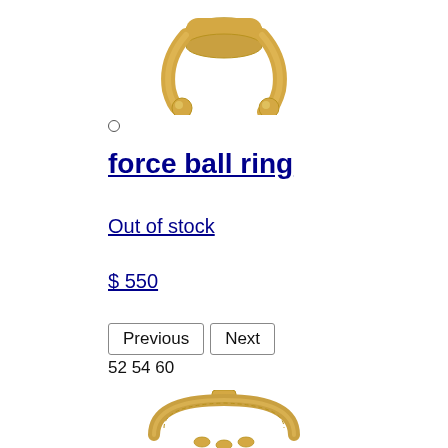[Figure (photo): Gold nail/force ball ring jewelry product photo, partial top view on white background]
○
force ball ring
Out of stock
$ 550
Previous  Next
52 54 60
[Figure (photo): Gold circular/hoop ring jewelry product photo, partial bottom view on white background]